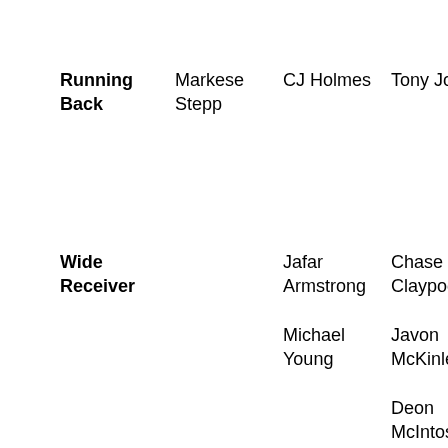| Position | Col1 | Col2 | Col3 | Col4 |
| --- | --- | --- | --- | --- |
| Running Back | Markese Stepp | CJ Holmes | Tony Jones | Josh Adams

Dexter Williams |
| Wide Receiver |  | Jafar Armstrong

Michael Young | Chase Claypool

Javon McKinley

Deon McIntosh*

Kevin Stepherson | Miles Boyle

Equanime St. Brown

Freddy Canteen*

CJ Sanders

Chris Finke |